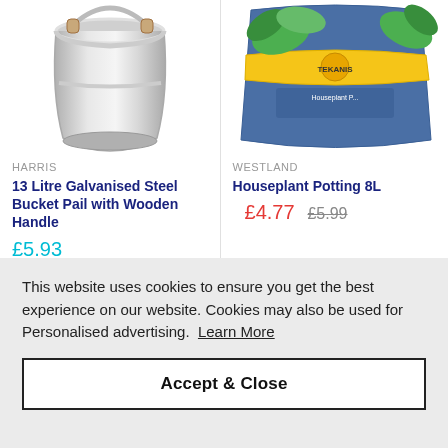[Figure (photo): Photo of a galvanised steel bucket/pail viewed from slightly above, silver metallic finish]
HARRIS
13 Litre Galvanised Steel Bucket Pail with Wooden Handle
£5.93
[Figure (photo): Photo of a bag of Westland Houseplant Potting mix, blue and yellow packaging]
WESTLAND
Houseplant Potting 8L
£4.77  £5.99
This website uses cookies to ensure you get the best experience on our website. Cookies may also be used for Personalised advertising.  Learn More
Accept & Close